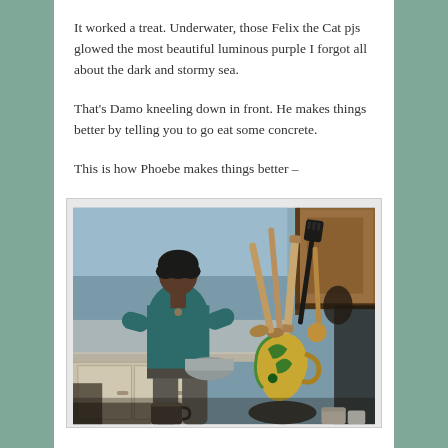It worked a treat. Underwater, those Felix the Cat pjs glowed the most beautiful luminous purple I forgot all about the dark and stormy sea.
That's Damo kneeling down in front. He makes things better by telling you to go eat some concrete.
This is how Phoebe makes things better –
[Figure (photo): A person standing at a kitchen counter with their back to the camera, wearing a teal/dark blue sweater and grey pants. In the foreground on the right is a collection of wooden kitchen utensils in a holder, and a decorative yellow and blue vase/jug. The kitchen has light blue walls and wooden upper cabinets on the right.]